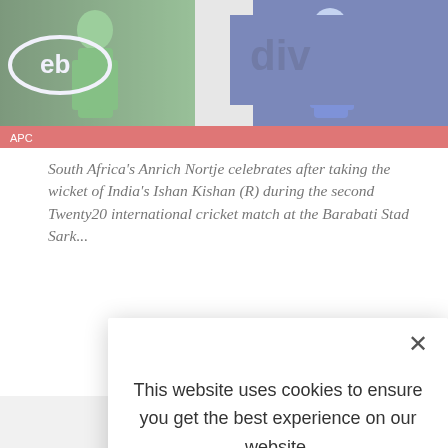[Figure (photo): Cricket match photo showing South Africa player celebrating after taking a wicket, with advertising boards visible including 'eb' and 'div' brands, red strip at bottom with match details]
South Africa's Anrich Nortje celebrates after taking the wicket of India's Ishan Kishan (R) during the second Twenty20 international cricket match at the Barabati Stad... Sark...
Publis...
[Figure (photo): Author avatar — circular portrait photo of a man in a suit]
This website uses cookies to ensure you get the best experience on our website.

LEARN MORE.

ACCEPT COOKIES